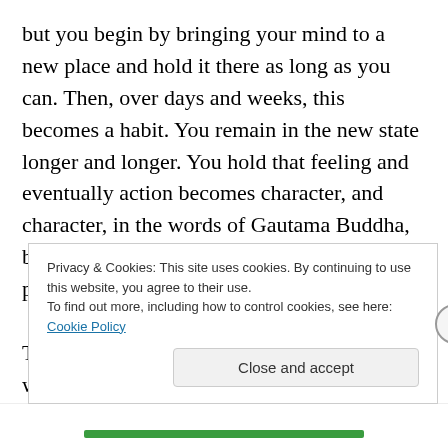but you begin by bringing your mind to a new place and hold it there as long as you can. Then, over days and weeks, this becomes a habit. You remain in the new state longer and longer. You hold that feeling and eventually action becomes character, and character, in the words of Gautama Buddha, becomes destiny.Some miss that the only plan is what you intend and help manifest.

There will inevitably come a time when what's left of your inner junk gets driven to the surface. It can no longer survive in the new you. Like bubbles rising from the
Privacy & Cookies: This site uses cookies. By continuing to use this website, you agree to their use.
To find out more, including how to control cookies, see here: Cookie Policy